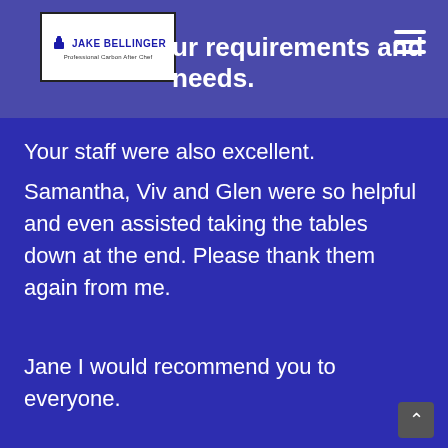ur requirements and needs.
[Figure (logo): Jake Bellinger Professional Carbon After Chef logo]
Your staff were also excellent. Samantha, Viv and Glen were so helpful and even assisted taking the tables down at the end. Please thank them again from me.

Jane I would recommend you to everyone.

Best Wishes